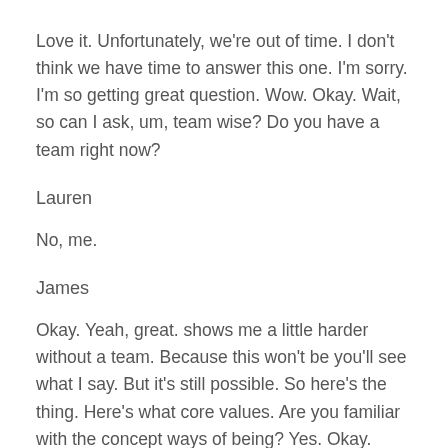Love it. Unfortunately, we're out of time. I don't think we have time to answer this one. I'm sorry. I'm so getting great question. Wow. Okay. Wait, so can I ask, um, team wise? Do you have a team right now?
Lauren
No, me.
James
Okay. Yeah, great. shows me a little harder without a team. Because this won't be you'll see what I say. But it's still possible. So here's the thing. Here's what core values. Are you familiar with the concept ways of being? Yes. Okay. Right. So like, a way of being is